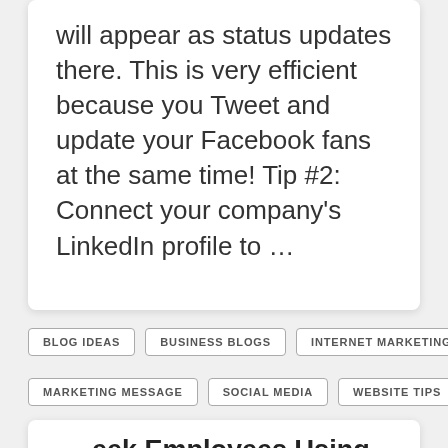will appear as status updates there. This is very efficient because you Tweet and update your Facebook fans at the same time! Tip #2:  Connect your company's LinkedIn profile to …
BLOG IDEAS
BUSINESS BLOGS
INTERNET MARKETING
MARKETING MESSAGE
SOCIAL MEDIA
WEBSITE TIPS
eek Employees Using Social Media